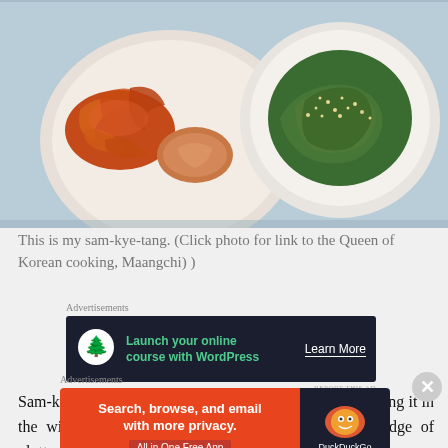[Figure (photo): Overhead view of Korean side dishes in white bowls on a white tray — spicy stir-fried vegetables on the left and sesame-sprinkled greens on the right]
This is my sam-kye-tang. (Click photo for link to the Queen of Korean cooking, Maangchi) )
[Figure (screenshot): Advertisement banner: dark background with tree icon, green text 'Launch your online course with WordPress', white 'Learn More' button]
Sam-kye-tang is one of my favourites though I prefer eating it in the winter. At lunch time that small chicken, the wadge of gluttonous rice and a gallon of broth, simpl
[Figure (screenshot): DuckDuckGo advertisement: orange background with text 'Search, browse, and email with more privacy. All in One Free App' and DuckDuckGo duck logo on dark background]